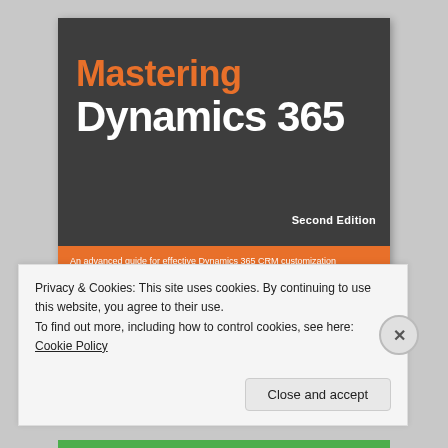[Figure (illustration): Book cover of 'Mastering Dynamics 365, Second Edition' — dark grey top with orange title text 'Mastering' and white bold text 'Dynamics 365', orange subtitle band reading 'An advanced guide for effective Dynamics 365 CRM customization and development', and a colorful flower grid photo at the bottom.]
Privacy & Cookies: This site uses cookies. By continuing to use this website, you agree to their use.
To find out more, including how to control cookies, see here: Cookie Policy
Close and accept